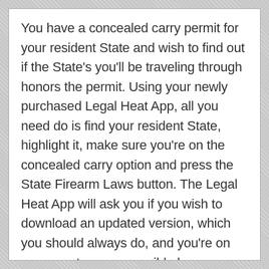You have a concealed carry permit for your resident State and wish to find out if the State's you'll be traveling through honors the permit. Using your newly purchased Legal Heat App, all you need do is find your resident State, highlight it, make sure you're on the concealed carry option and press the State Firearm Laws button. The Legal Heat App will ask you if you wish to download an updated version, which you should always do, and you're on your way to every possible law your own State has. You'll also be shown a map that allows you to view the Reciprocity your State has with other States. The map doesn't give you State names, so you'll have to brush up on